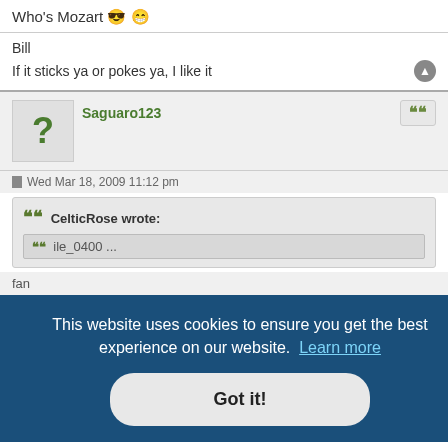Who's Mozart 😎 😁
Bill
If it sticks ya or pokes ya, I like it
Saguaro123
Wed Mar 18, 2009 11:12 pm
CelticRose wrote:
This website uses cookies to ensure you get the best experience on our website. Learn more
Got it!
I listen to Bach! 😊 He's about 400 years old.